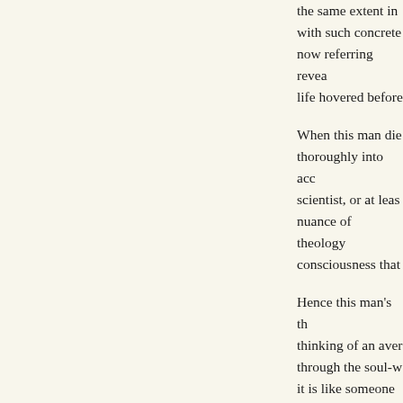the same extent in with such concrete now referring revea life hovered before
When this man die thoroughly into acc scientist, or at leas nuance of theology consciousness that
Hence this man's th thinking of an aver through the soul-w it is like someone v understand him an typical product of n
But it was rather di